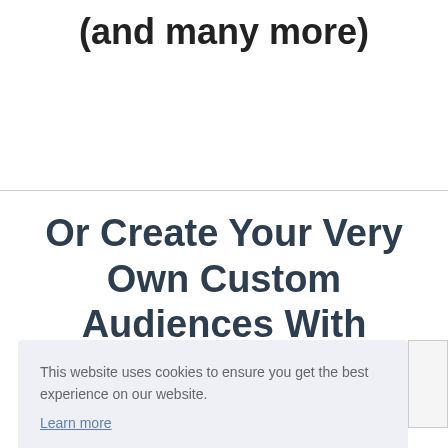(and many more)
Or Create Your Very Own Custom Audiences With Compatiti...
This website uses cookies to ensure you get the best experience on our website.
Learn more
Got it!